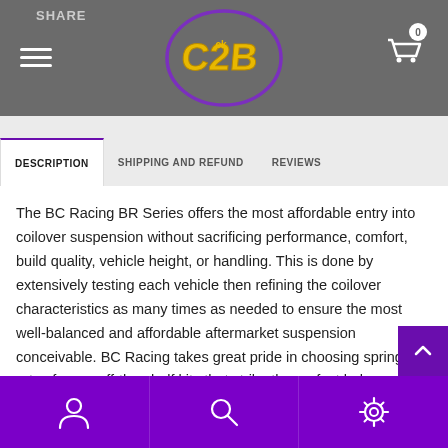SHARE | C2B Logo | Cart (0)
DESCRIPTION | SHIPPING AND REFUND | REVIEWS
The BC Racing BR Series offers the most affordable entry into coilover suspension without sacrificing performance, comfort, build quality, vehicle height, or handling. This is done by extensively testing each vehicle then refining the coilover characteristics as many times as needed to ensure the most well-balanced and affordable aftermarket suspension conceivable. BC Racing takes great pride in choosing spring rates for our off-the-shelf kits that strike the perfect balance between comfort and performance so you re never stuck with an oversprung suspension like
[Figure (logo): C2B graffiti-style logo in yellow/gold with purple oval border]
User icon | Search icon | Settings icon